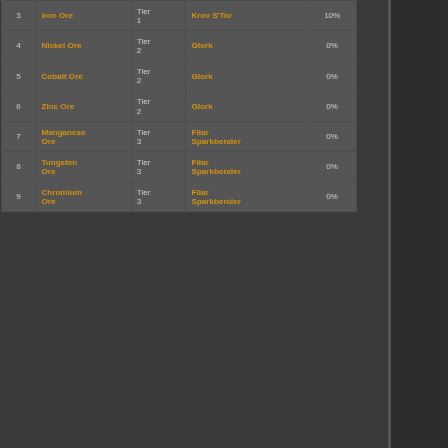| # | Item | Tier | Vendor | % |
| --- | --- | --- | --- | --- |
| 3 | Iron Ore | Tier 1 | Krov S'Tor | 10% |
| 4 | Nickel Ore | Tier 2 | Glork | 0% |
| 5 | Cobalt Ore | Tier 2 | Glork | 0% |
| 6 | Zinc Ore | Tier 2 | Glork | 0% |
| 7 | Manganese Ore | Tier 3 | Filar Sparkbender | 0% |
| 8 | Tungsten Ore | Tier 3 | Filar Sparkbender | 0% |
| 9 | Chromium Ore | Tier 3 | Filar Sparkbender | 0% |
Categories: Crafting | Custom Features